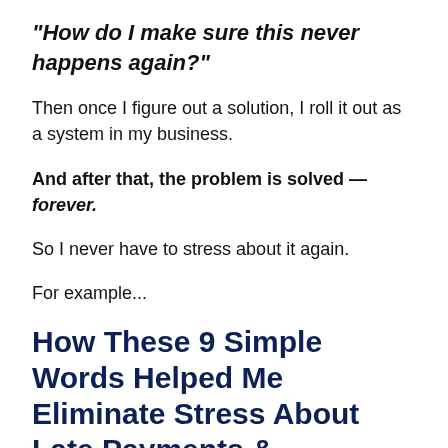“How do I make sure this never happens again?”
Then once I figure out a solution, I roll it out as a system in my business.
And after that, the problem is solved — forever.
So I never have to stress about it again.
For example…
How These 9 Simple Words Helped Me Eliminate Stress About Late Payments &